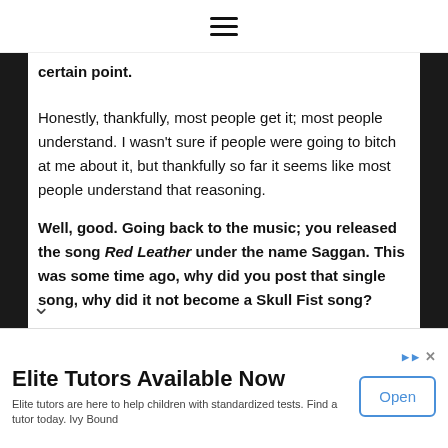☰
certain point.
Honestly, thankfully, most people get it; most people understand. I wasn't sure if people were going to bitch at me about it, but thankfully so far it seems like most people understand that reasoning.
Well, good. Going back to the music; you released the song Red Leather under the name Saggan. This was some time ago, why did you post that single song, why did it not become a Skull Fist song?
Elite Tutors Available Now
Elite tutors are here to help children with standardized tests. Find a tutor today. Ivy Bound